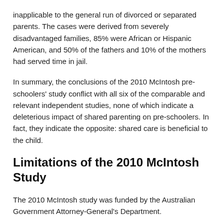inapplicable to the general run of divorced or separated parents. The cases were derived from severely disadvantaged families, 85% were African or Hispanic American, and 50% of the fathers and 10% of the mothers had served time in jail.
In summary, the conclusions of the 2010 McIntosh pre-schoolers' study conflict with all six of the comparable and relevant independent studies, none of which indicate a deleterious impact of shared parenting on pre-schoolers. In fact, they indicate the opposite: shared care is beneficial to the child.
Limitations of the 2010 McIntosh Study
The 2010 McIntosh study was funded by the Australian Government Attorney-General's Department.